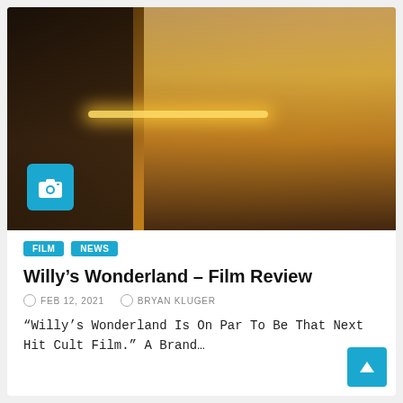[Figure (photo): Two people standing in an amber/orange-lit scene. A woman with dark hair on the left in dark clothing, and a man on the right wearing a white t-shirt with a logo. A horizontal glowing light bar is visible in the background. A camera badge icon is overlaid in the lower-left corner of the image.]
FILM
NEWS
Willy’s Wonderland – Film Review
FEB 12, 2021   BRYAN KLUGER
“Willy’s Wonderland Is On Par To Be That Next Hit Cult Film.” A Brand...